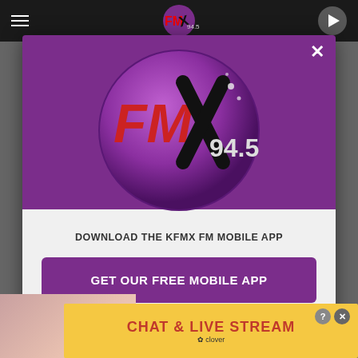[Figure (screenshot): Mobile app website for KFMX FM 94.5 radio station with a modal popup prompting app download]
[Figure (logo): FMX 94.5 circular purple logo with red and black FMX lettering]
DOWNLOAD THE KFMX FM MOBILE APP
GET OUR FREE MOBILE APP
Also listen on: amazon alexa
[Figure (infographic): Bottom advertisement banner: CHAT & LIVE STREAM with Clover logo, yellow background with red text, and a background image of a woman at beach]